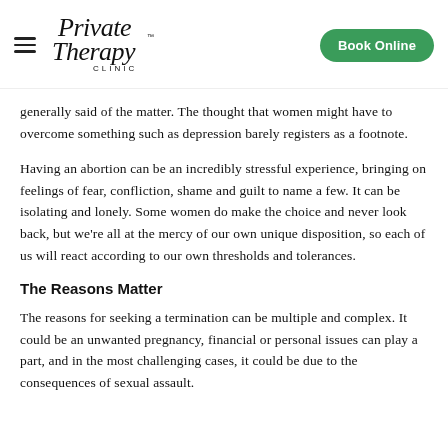Private Therapy Clinic — Book Online
generally said of the matter. The thought that women might have to overcome something such as depression barely registers as a footnote.
Having an abortion can be an incredibly stressful experience, bringing on feelings of fear, confliction, shame and guilt to name a few. It can be isolating and lonely. Some women do make the choice and never look back, but we're all at the mercy of our own unique disposition, so each of us will react according to our own thresholds and tolerances.
The Reasons Matter
The reasons for seeking a termination can be multiple and complex. It could be an unwanted pregnancy, financial or personal issues can play a part, and in the most challenging cases, it could be due to the consequences of sexual assault.